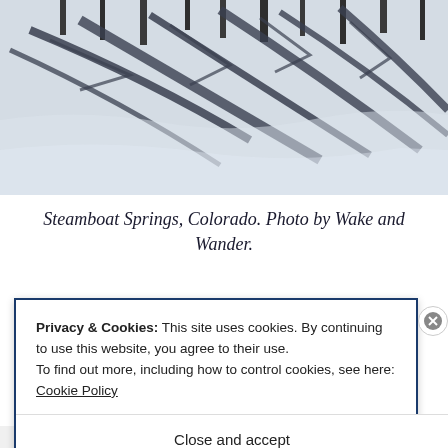[Figure (photo): Aerial/overhead view of a snowy landscape with tree shadows casting dark diagonal lines across the white snow in Steamboat Springs, Colorado. Black and white toned photograph.]
Steamboat Springs, Colorado. Photo by Wake and Wander.
Privacy & Cookies: This site uses cookies. By continuing to use this website, you agree to their use.
To find out more, including how to control cookies, see here: Cookie Policy
Close and accept